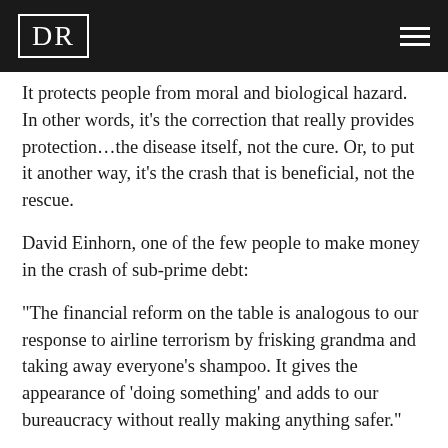DR
It protects people from moral and biological hazard. In other words, it’s the correction that really provides protection…the disease itself, not the cure. Or, to put it another way, it’s the crash that is beneficial, not the rescue.
David Einhorn, one of the few people to make money in the crash of sub-prime debt:
“The financial reform on the table is analogous to our response to airline terrorism by frisking grandma and taking away everyone’s shampoo. It gives the appearance of ‘doing something’ and adds to our bureaucracy without really making anything safer.”
The Wall Street Journal reported that...